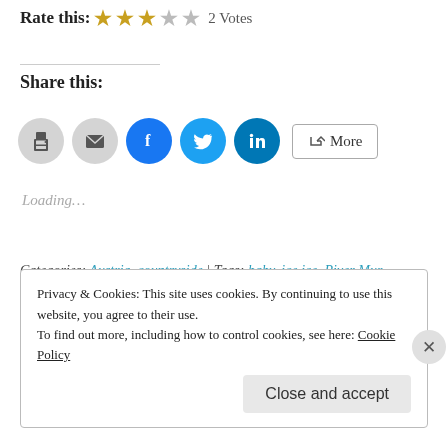Rate this: ★★★☆☆ 2 Votes
Share this:
[Figure (infographic): Social share buttons: print, email, Facebook, Twitter, LinkedIn, and More]
Loading...
Categories: Austria, countryside | Tags: baby, ice.ice, River Mur, Tamsweg | Permalink.
Privacy & Cookies: This site uses cookies. By continuing to use this website, you agree to their use. To find out more, including how to control cookies, see here: Cookie Policy
Close and accept